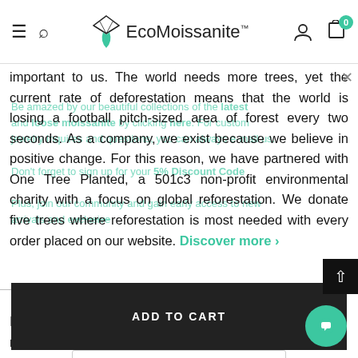EcoMoissanite™ — navigation header with menu, search, logo, user, cart
important to us. The world needs more trees, yet the current rate of deforestation means that the world is losing a football pitch-sized area of forest every two seconds. As a company, we exist because we believe in positive change. For this reason, we have partnered with One Tree Planted, a 501c3 non-profit environmental charity with a focus on global reforestation. We donate five trees where reforestation is most needed with every order placed on our website. Discover more ›
BUY NOW – PAY LATER
In line with our 'affordable luxury' principle, EcoMoissanite ma…
White Gold / 14K / US 5.00 – $1,397.00
ADD TO CART